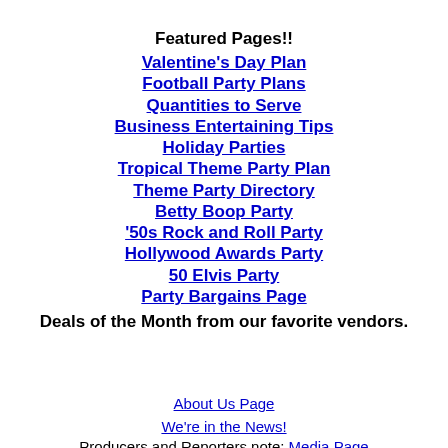Featured Pages!!
Valentine's Day Plan
Football Party Plans
Quantities to Serve
Business Entertaining Tips
Holiday Parties
Tropical Theme Party Plan
Theme Party Directory
Betty Boop Party
'50s Rock and Roll Party
Hollywood Awards Party
50 Elvis Party
Party Bargains Page
Deals of the Month from our favorite vendors.
About Us Page
We're in the News!
Producers and Reporters note: Media Page